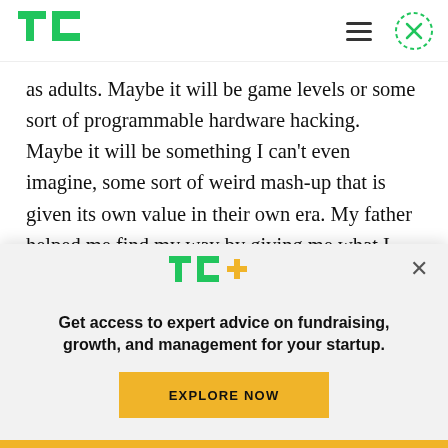[Figure (logo): TechCrunch TC logo in green]
as adults. Maybe it will be game levels or some sort of programmable hardware hacking. Maybe it will be something I can't even imagine, some sort of weird mash-up that is given its own value in their own era. My father helped me find my way by giving me what I needed to learn: books and broken stereos. He also taught me a way of thinking about
[Figure (logo): TechCrunch TC+ logo in green and yellow]
Get access to expert advice on fundraising, growth, and management for your startup.
EXPLORE NOW